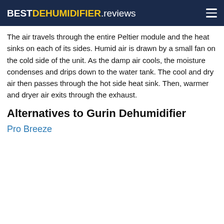BESTDEHUMIDIFIER.reviews
The air travels through the entire Peltier module and the heat sinks on each of its sides. Humid air is drawn by a small fan on the cold side of the unit. As the damp air cools, the moisture condenses and drips down to the water tank. The cool and dry air then passes through the hot side heat sink. Then, warmer and dryer air exits through the exhaust.
Alternatives to Gurin Dehumidifier
Pro Breeze